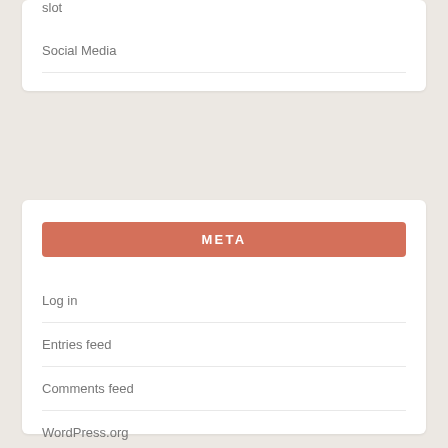slot
Social Media
META
Log in
Entries feed
Comments feed
WordPress.org